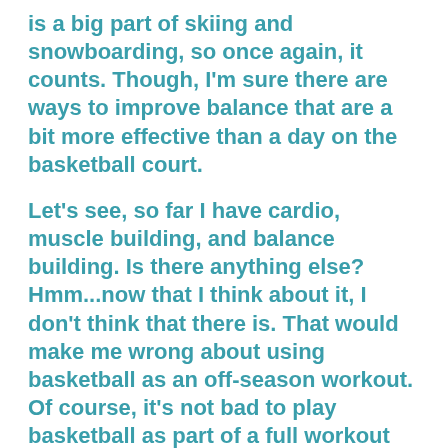is a big part of skiing and snowboarding, so once again, it counts. Though, I'm sure there are ways to improve balance that are a bit more effective than a day on the basketball court.
Let's see, so far I have cardio, muscle building, and balance building. Is there anything else? Hmm...now that I think about it, I don't think that there is. That would make me wrong about using basketball as an off-season workout. Of course, it's not bad to play basketball as part of a full workout program geared towards skiing and riding. Then again, any kind of sport that requires movement would be good as a part of any kind of workout program for anything.
So, in closing, basketball is a fun game that I enjoy and does have some benefits when it comes to staying in shape. But, I have to be honest, there are other ways that would be better at training in